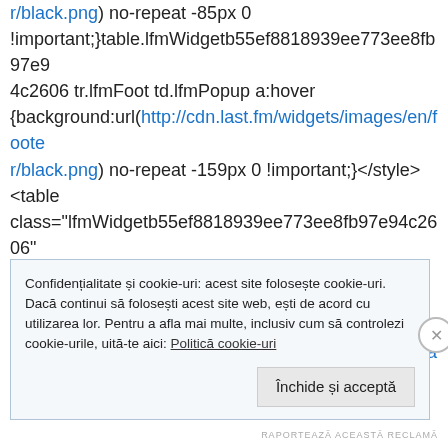r/black.png) no-repeat -85px 0 !important;}table.lfmWidgetb55ef8818939ee773ee8fb97e94c2606 tr.lfmFoot td.lfmPopup a:hover {background:url(http://cdn.last.fm/widgets/images/en/footer/black.png) no-repeat -159px 0 !important;}</style> <table class="lfmWidgetb55ef8818939ee773ee8fb97e94c2606" cellpadding="0" cellspacing="0" border="0" style="width:110px;"><tr class="lfmHead"><td><a title="Music like Boismortier" href="http://www.last.fm/listen/artist/Boismortier/similarartis
Confidențialitate și cookie-uri: acest site folosește cookie-uri. Dacă continui să folosești acest site web, ești de acord cu utilizarea lor. Pentru a afla mai multe, inclusiv cum să controlezi cookie-urile, uită-te aici: Politică cookie-uri
Închide și acceptă
RAPORTEAZĂ ACEASTĂ RECLAMĂ